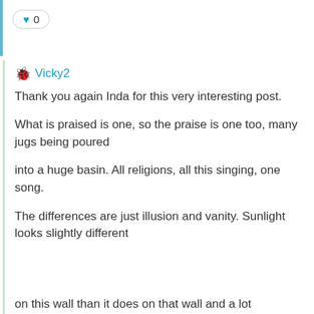♥ 0
🐞 Vicky2
Thank you again Inda for this very interesting post.

What is praised is one, so the praise is one too, many jugs being poured

into a huge basin. All religions, all this singing, one song.

The differences are just illusion and vanity. Sunlight
looks slightly different

on this wall than it does on that wall and a lot
on this wall than it does on that wall and a lot